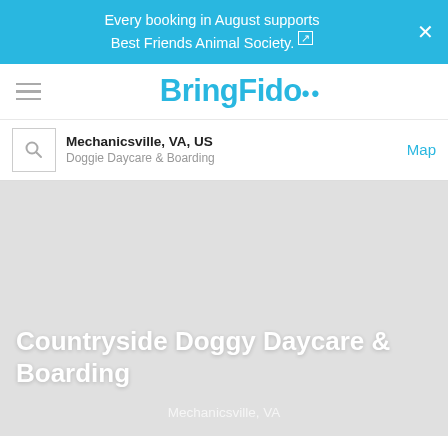Every booking in August supports Best Friends Animal Society.
[Figure (logo): BringFido logo with paw print icon in teal/blue color]
Mechanicsville, VA, US
Doggie Daycare & Boarding
[Figure (photo): Large light grey placeholder photo area for Countryside Doggy Daycare & Boarding]
Countryside Doggy Daycare & Boarding
Mechanicsville, VA